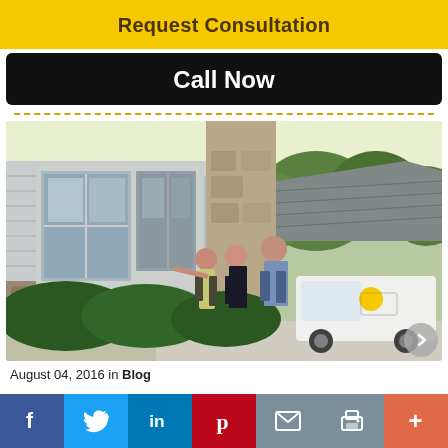Request Consultation
Call Now
[Figure (photo): Three people (a consultant and a couple) standing outside a house looking at windows, with a branded white truck in the background.]
August 04, 2016 in Blog
[Figure (infographic): Social media sharing bar with icons for Facebook, Twitter, LinkedIn, Pinterest, Email, Print, and More (+).]